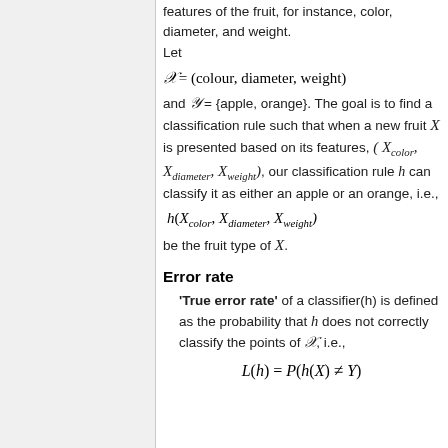features of the fruit, for instance, color, diameter, and weight.
Let
and Y = {apple, orange}. The goal is to find a classification rule such that when a new fruit X is presented based on its features, (X_color, X_diameter, X_weight), our classification rule h can classify it as either an apple or an orange, i.e.,
be the fruit type of X.
Error rate
'True error rate' of a classifier(h) is defined as the probability that h does not correctly classify the points of X, i.e.,